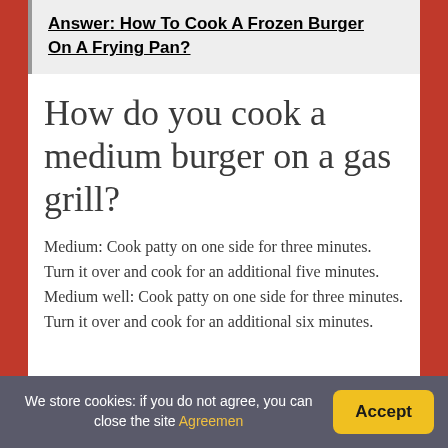Answer: How To Cook A Frozen Burger On A Frying Pan?
How do you cook a medium burger on a gas grill?
Medium: Cook patty on one side for three minutes. Turn it over and cook for an additional five minutes. Medium well: Cook patty on one side for three minutes. Turn it over and cook for an additional six minutes.
We store cookies: if you do not agree, you can close the site Agreemen